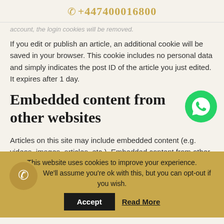+447400016800
account, the login cookies will be removed.
If you edit or publish an article, an additional cookie will be saved in your browser. This cookie includes no personal data and simply indicates the post ID of the article you just edited. It expires after 1 day.
Embedded content from other websites
[Figure (logo): WhatsApp icon button - green circle with white WhatsApp logo]
Articles on this site may include embedded content (e.g. videos, images, articles, etc.). Embedded content from other websites
This website uses cookies to improve your experience. We'll assume you're ok with this, but you can opt-out if you wish.
[Figure (logo): Phone icon in gold/tan circle - cookie bar phone button]